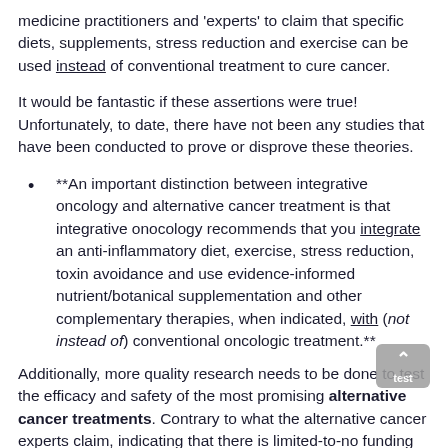medicine practitioners and 'experts' to claim that specific diets, supplements, stress reduction and exercise can be used instead of conventional treatment to cure cancer.
It would be fantastic if these assertions were true! Unfortunately, to date, there have not been any studies that have been conducted to prove or disprove these theories.
**An important distinction between integrative oncology and alternative cancer treatment is that integrative onocology recommends that you integrate an anti-inflammatory diet, exercise, stress reduction, toxin avoidance and use evidence-informed nutrient/botanical supplementation and other complementary therapies, when indicated, with (not instead of) conventional oncologic treatment.**
Additionally, more quality research needs to be done to test the efficacy and safety of the most promising alternative cancer treatments. Contrary to what the alternative cancer experts claim, indicating that there is limited-to-no funding